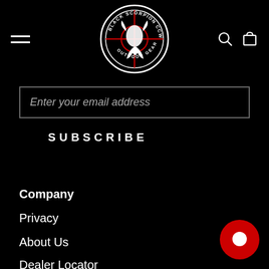[Figure (logo): Black Scorpion CCW Outdoor Gear circular logo with scorpion and crosshair design in black, white, and red]
Enter your email address
SUBSCRIBE
Company
Privacy
About Us
Dealer Locator